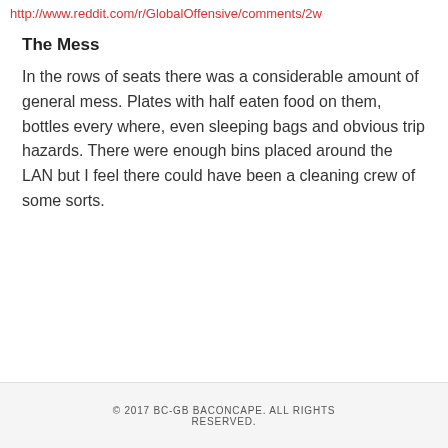http://www.reddit.com/r/GlobalOffensive/comments/2w
The Mess
In the rows of seats there was a considerable amount of general mess. Plates with half eaten food on them, bottles every where, even sleeping bags and obvious trip hazards. There were enough bins placed around the LAN but I feel there could have been a cleaning crew of some sorts.
© 2017 BC-GB BACONCAPE. ALL RIGHTS RESERVED.